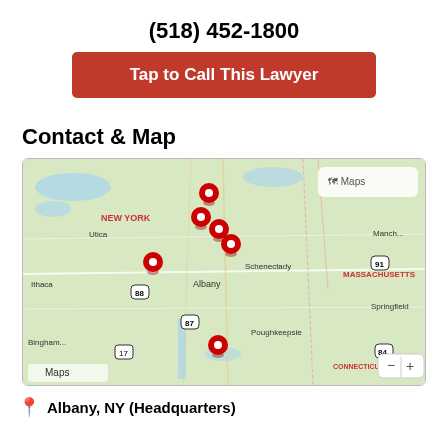(518) 452-1800
Tap to Call This Lawyer
Contact & Map
[Figure (map): Apple Maps showing New York state with red location pins clustered around Albany, Schenectady area and one pin near Poughkeepsie. Labels visible: Utica, NEW YORK, Albany, Schenectady, MASSACHUSETTS, CONNECTICUT, Ithaca, Binghamton, Springfield, Manchester. Interstate markers: 88, 87, 91, 84, 17.]
Albany, NY (Headquarters)